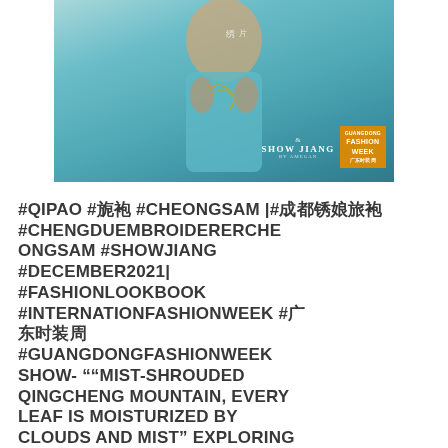[Figure (photo): Fashion photo showing a model in a blue-green qipao/cheongsam dress with embroidery, featuring Show Jiang brand logo and Guangdong Fashion Week logo overlay]
#QIPAO #旗袍 #CHEONGSAM |#成都绣娘旗袍 #CHENGDUEMBROIDERERCHEONGSAM #SHOWJIANG #DECEMBER2021| #FASHIONLOOKBOOK #INTERNATIONFASHIONWEEK #广东时装周 #GUANGDONGFASHIONWEEKSHOW- ""MIST-SHROUDED QINGCHENG MOUNTAIN, EVERY LEAF IS MOISTURIZED BY CLOUDS AND MIST" EXPLORING